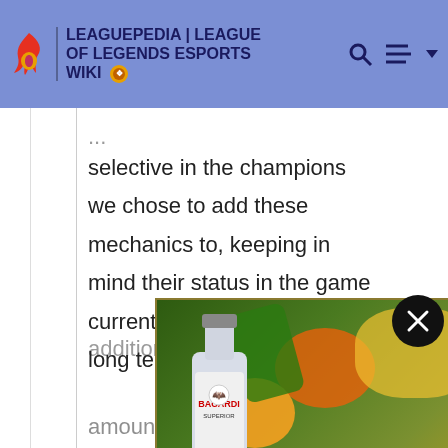LEAGUEPEDIA | LEAGUE OF LEGENDS ESPORTS WIKI
selective in the champions we chose to add these mechanics to, keeping in mind their status in the game currently. We believe, in the long term, these additions will make
[Figure (screenshot): Bacardi advertisement banner: 'DO WHAT MOVES YOU' with SHOP NOW button, showing Bacardi bottle and tropical fruits]
amount of nerf